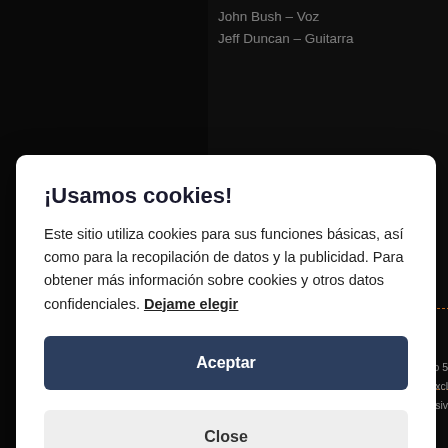John Bush – Voz
Jeff Duncan – Guitarra
¡Usamos cookies!
Este sitio utiliza cookies para sus funciones básicas, así como para la recopilación de datos y la publicidad. Para obtener más información sobre cookies y otros datos confidenciales. Dejame elegir
Aceptar
Close
- crystal clear vinyl (US exclusive)
- red / black splatter vinyl (US exclusive)
https://www.metalblade.com/us/news/arm